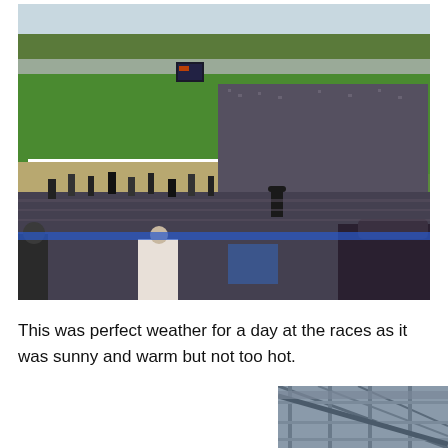[Figure (photo): Aerial view of a horse racing venue showing a large green racing track, crowds of spectators in formal attire including top hats, a grandstand area, and surrounding grounds with trees in the background. Taken from an elevated viewpoint in the stands.]
This was perfect weather for a day at the races as it was sunny and warm but not too hot.
[Figure (photo): Partial view of a building structure showing metal railings and scaffolding or grandstand framework.]